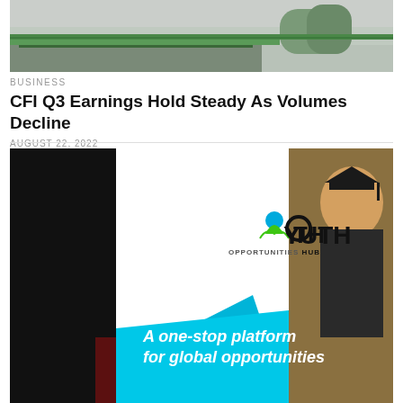[Figure (photo): Top portion of a building with a green roof against a grey sky]
BUSINESS
CFI Q3 Earnings Hold Steady As Volumes Decline
AUGUST 22, 2022
[Figure (logo): Youth Opportunities Hub logo and promotional banner reading 'A one-stop platform for global opportunities']